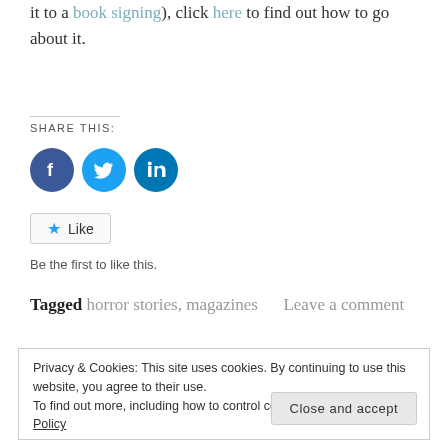it to a book signing), click here to find out how to go about it.
SHARE THIS:
[Figure (infographic): Three social media share buttons: Facebook (blue circle with f icon), Twitter (cyan circle with bird icon), LinkedIn (dark teal circle with in icon)]
Like
Be the first to like this.
Tagged horror stories, magazines    Leave a comment
Privacy & Cookies: This site uses cookies. By continuing to use this website, you agree to their use.
To find out more, including how to control cookies, see here: Cookie Policy
Close and accept